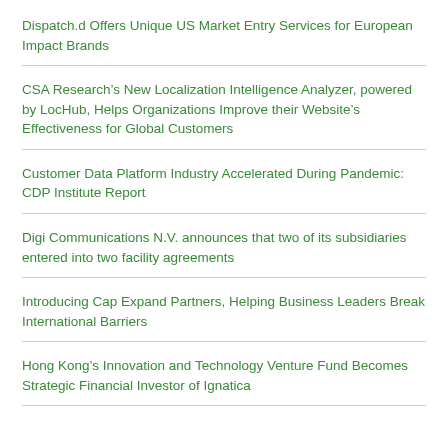Dispatch.d Offers Unique US Market Entry Services for European Impact Brands
CSA Research’s New Localization Intelligence Analyzer, powered by LocHub, Helps Organizations Improve their Website’s Effectiveness for Global Customers
Customer Data Platform Industry Accelerated During Pandemic: CDP Institute Report
Digi Communications N.V. announces that two of its subsidiaries entered into two facility agreements
Introducing Cap Expand Partners, Helping Business Leaders Break International Barriers
Hong Kong’s Innovation and Technology Venture Fund Becomes Strategic Financial Investor of Ignatica